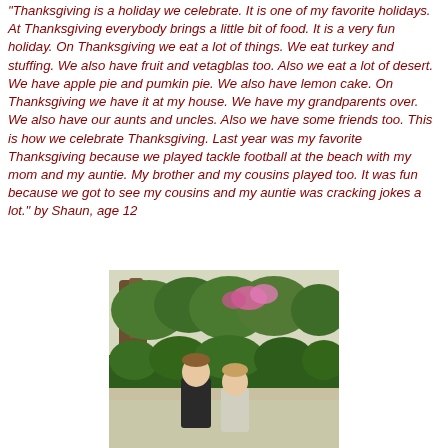"Thanksgiving is a holiday we celebrate. It is one of my favorite holidays. At Thanksgiving everybody brings a little bit of food. It is a very fun holiday. On Thanksgiving we eat a lot of things. We eat turkey and stuffing. We also have fruit and vetagblas too. Also we eat a lot of desert. We have apple pie and pumkin pie. We also have lemon cake. On Thanksgiving we have it at my house. We have my grandparents over. We also have our aunts and uncles. Also we have some friends too. This is how we celebrate Thanksgiving. Last year was my favorite Thanksgiving because we played tackle football at the beach with my mom and my auntie. My brother and my cousins played too. It was fun because we got to see my cousins and my auntie was cracking jokes a lot." by Shaun, age 12
[Figure (photo): Outdoor photo of two children standing in front of green bushes and trees with pink flowers in the background.]